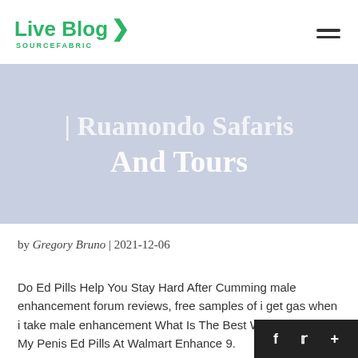Live Blog SOURCEFABRIC
| Ruamondo Safaris And Tours
by Gregory Bruno | 2021-12-06
Do Ed Pills Help You Stay Hard After Cumming male enhancement forum reviews, free samples of i get gas when i take male enhancement What Is The Best Way To Enlarge My Penis Ed Pills At Walmart Enhance 9.